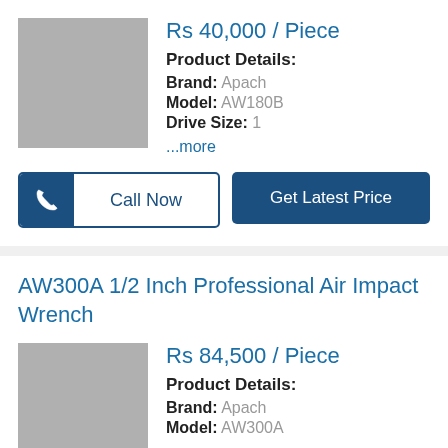Rs 40,000 / Piece
Product Details:
Brand: Apach
Model: AW180B
Drive Size: 1
...more
Call Now
Get Latest Price
AW300A 1/2 Inch Professional Air Impact Wrench
Rs 84,500 / Piece
Product Details:
Brand: Apach
Model: AW300A